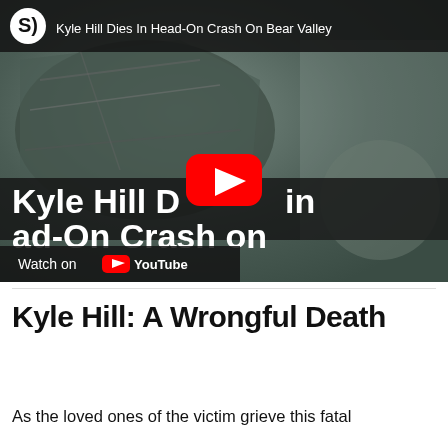[Figure (screenshot): Embedded YouTube video thumbnail showing a crashed car with text overlay 'Kyle Hill Dies in Head-On Crash on Bear Valley' and a YouTube play button in the center. The top bar shows an SJ logo and the video title. The bottom left shows a 'Watch on YouTube' button.]
Kyle Hill: A Wrongful Death
As the loved ones of the victim grieve this fatal